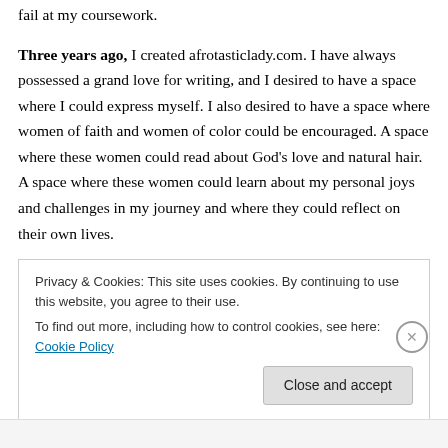fail at my coursework.
Three years ago, I created afrotasticlady.com. I have always possessed a grand love for writing, and I desired to have a space where I could express myself. I also desired to have a space where women of faith and women of color could be encouraged. A space where these women could read about God's love and natural hair. A space where these women could learn about my personal joys and challenges in my journey and where they could reflect on their own lives.
Privacy & Cookies: This site uses cookies. By continuing to use this website, you agree to their use. To find out more, including how to control cookies, see here: Cookie Policy